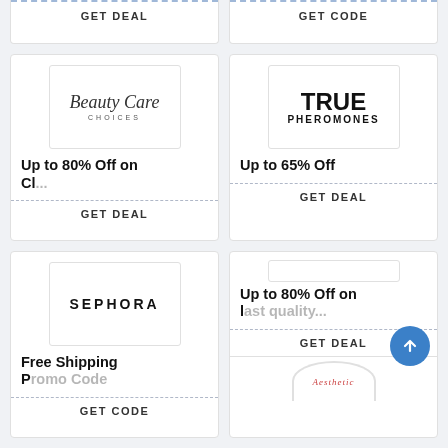GET DEAL
GET CODE
[Figure (logo): Beauty Care Choices logo - script text]
Up to 80% Off on Cl...
GET DEAL
[Figure (logo): TRUE PHEROMONES logo]
Up to 65% Off
GET DEAL
[Figure (logo): SEPHORA logo]
Free Shipping Promo Code
GET CODE
Up to 80% Off on last quality...
GET DEAL
[Figure (logo): Aesthetic partial logo at bottom right]